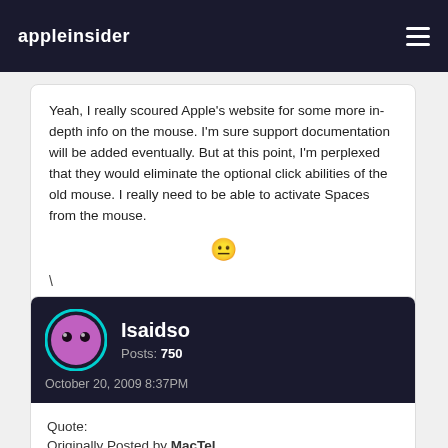appleinsider
Yeah, I really scoured Apple's website for some more in-depth info on the mouse. I'm sure support documentation will be added eventually. But at this point, I'm perplexed that they would eliminate the optional click abilities of the old mouse. I really need to be able to activate Spaces from the mouse.
😐
\
Isaidso
Posts: 750
October 20, 2009 8:37PM
Quote:
Originally Posted by MacTel